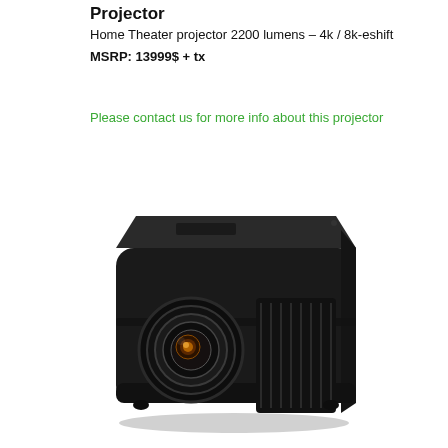Projector
Home Theater projector 2200 lumens – 4k / 8k-eshift
MSRP: 13999$ + tx
Please contact us for more info about this projector
[Figure (photo): Black JVC home theater projector with large lens on the left side and ventilation grille on the right side, viewed from a slight front-left angle.]